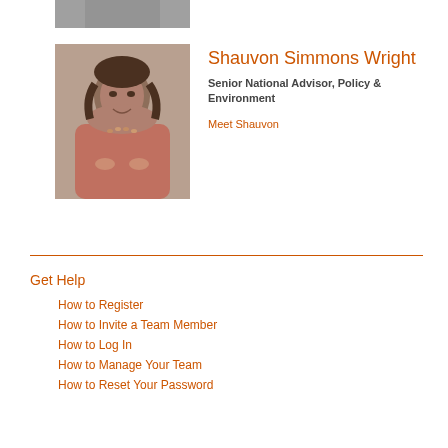[Figure (photo): Partial photo of a person at the top of the page, cropped]
[Figure (photo): Portrait photo of Shauvon Simmons Wright, a woman smiling, wearing a pink top and beaded necklace]
Shauvon Simmons Wright
Senior National Advisor, Policy & Environment
Meet Shauvon
Get Help
How to Register
How to Invite a Team Member
How to Log In
How to Manage Your Team
How to Reset Your Password